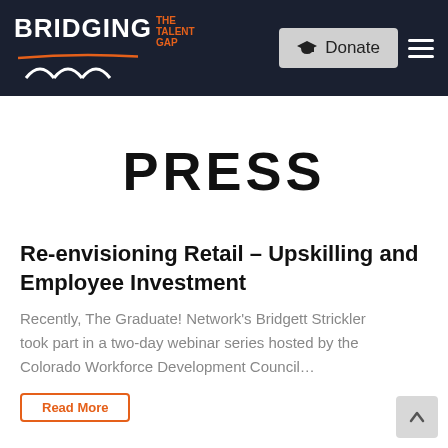BRIDGING THE TALENT GAP — Donate
PRESS
Re-envisioning Retail – Upskilling and Employee Investment
Recently, The Graduate! Network's Bridgett Strickler took part in a two-day webinar series hosted by the Colorado Workforce Development Council…